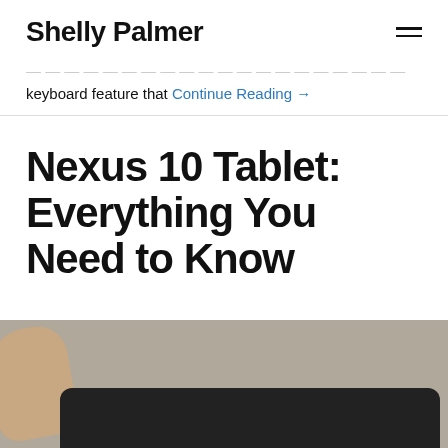Shelly Palmer
keyboard feature that Continue Reading →
Nexus 10 Tablet: Everything You Need to Know
[Figure (photo): A hand holding a Nexus 10 tablet, showing the edge of the device against a light background.]